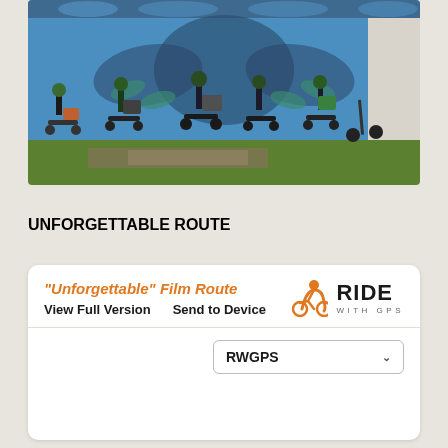[Figure (photo): Group of cyclists with loaded touring bikes standing in front of a colorful mural of a bird (owl/eagle) painted on a building wall. Grass and dirt in foreground. Riders wearing cycling gear and helmets.]
UNFORGETTABLE ROUTE
"Unforgettable" Film Route
View Full Version    Send to Device
RIDE WITH GPS
RWGPS